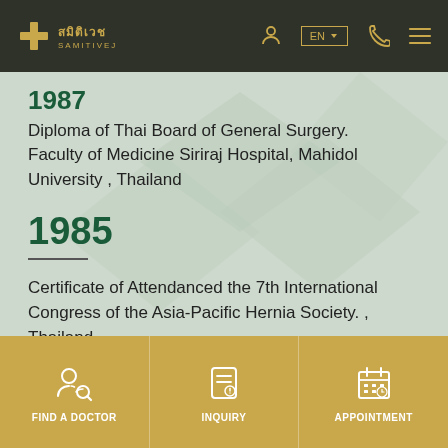Samitivej Hospital navigation bar with logo, EN language selector, phone and menu icons
Diploma of Thai Board of General Surgery. Faculty of Medicine Siriraj Hospital, Mahidol University , Thailand
1985
Certificate of Attendanced the 7th International Congress of the Asia-Pacific Hernia Society. , Thailand
FIND A DOCTOR | INQUIRY | APPOINTMENT